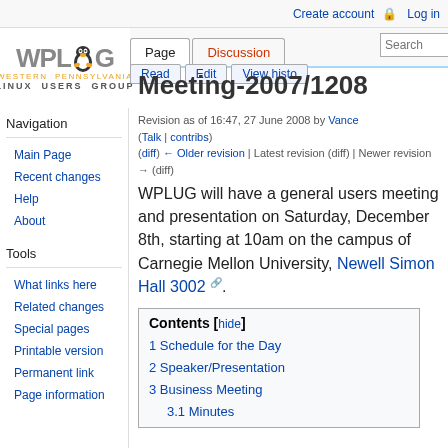Create account  Log in
[Figure (logo): WPLUG - Western Pennsylvania Linux Users Group logo with Tux penguin]
Meeting-2007/1208
Revision as of 16:47, 27 June 2008 by Vance (Talk | contribs)
(diff) ← Older revision | Latest revision (diff) | Newer revision → (diff)
WPLUG will have a general users meeting and presentation on Saturday, December 8th, starting at 10am on the campus of Carnegie Mellon University, Newell Simon Hall 3002.
Navigation
Main Page
Recent changes
Help
About
Tools
What links here
Related changes
Special pages
Printable version
Permanent link
Page information
| Contents |
| --- |
| 1 Schedule for the Day |
| 2 Speaker/Presentation |
| 3 Business Meeting |
| 3.1 Minutes |